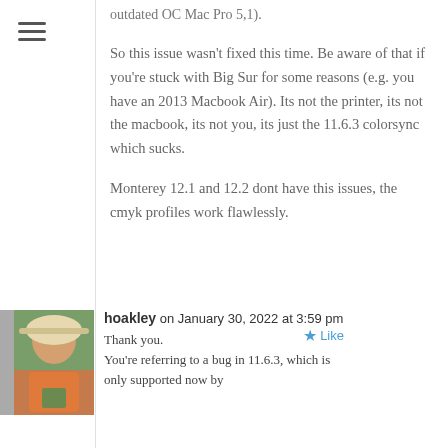outdated OC Mac Pro 5,1).
So this issue wasn’t fixed this time. Be aware of that if you’re stuck with Big Sur for some reasons (e.g. you have an 2013 Macbook Air). Its not the printer, its not the macbook, its not you, its just the 11.6.3 colorsync which sucks.
Monterey 12.1 and 12.2 dont have this issues, the cmyk profiles work flawlessly.
hoakley on January 30, 2022 at 3:59 pm
Thank you.
You’re referring to a bug in 11.6.3, which is only supported now by